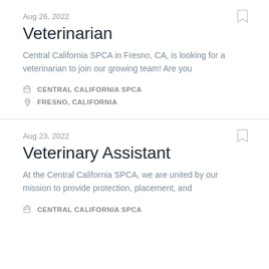Aug 26, 2022
Veterinarian
Central California SPCA in Fresno, CA, is looking for a veterinarian to join our growing team! Are you
CENTRAL CALIFORNIA SPCA
FRESNO, CALIFORNIA
Aug 23, 2022
Veterinary Assistant
At the Central California SPCA, we are united by our mission to provide protection, placement, and
CENTRAL CALIFORNIA SPCA